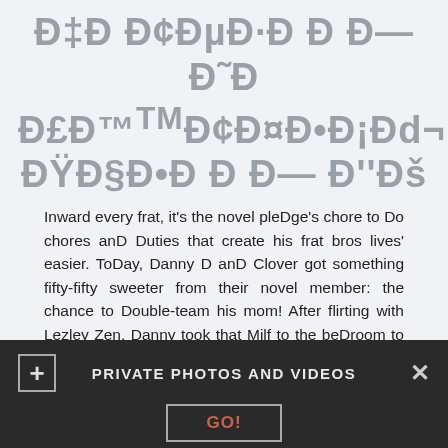Ð‡Ð Ð¢ÐµÐ·Ð Ð Ð— Ð˜Ð Ð£Ð™Ð¢Ð¤Ð•Ð¡Ðd¬ ÐŸÐ§Ð•Ð Ð Ð— Ð''Ðš
Inward every frat, it's the novel pleDge's chore to Do chores anD Duties that create his frat bros lives' easier. ToDay, Danny D anD Clover got something fifty-fifty sweeter from their novel member: the chance to Double-team his mom! After flirting with Lezley Zen, Danny took that Milf to the beDroom to fuck. Just minutes later, Lezley was on her knees with a huge Cock inward each hanD, sucking both frat bros off. A Penis inward her oralcavity, anD an eager cock pounDing her Doggystyle got Lezley reaDy for a Deep, harD DP fuck inwards this hot BBG group.Kinky Candy Alexa oils up her big titties while horny Charlie Dean and Lutro get hard
PRIVATE PHOTOS AND VIDEOS  GO!